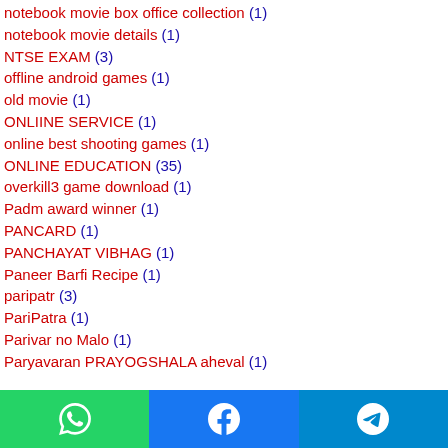notebook movie box office collection (1)
notebook movie details (1)
NTSE EXAM (3)
offline android games (1)
old movie (1)
ONLIINE SERVICE (1)
online best shooting games (1)
ONLINE EDUCATION (35)
overkill3 game download (1)
Padm award winner (1)
PANCARD (1)
PANCHAYAT VIBHAG (1)
Paneer Barfi Recipe (1)
paripatr (3)
PariPatra (1)
Parivar no Malo (1)
Paryavaran PRAYOGSHALA aheval (1)